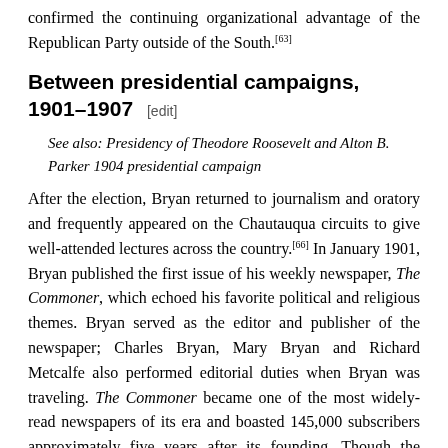confirmed the continuing organizational advantage of the Republican Party outside of the South.[63]
Between presidential campaigns, 1901–1907 [edit]
See also: Presidency of Theodore Roosevelt and Alton B. Parker 1904 presidential campaign
After the election, Bryan returned to journalism and oratory and frequently appeared on the Chautauqua circuits to give well-attended lectures across the country.[66] In January 1901, Bryan published the first issue of his weekly newspaper, The Commoner, which echoed his favorite political and religious themes. Bryan served as the editor and publisher of the newspaper; Charles Bryan, Mary Bryan and Richard Metcalfe also performed editorial duties when Bryan was traveling. The Commoner became one of the most widely-read newspapers of its era and boasted 145,000 subscribers approximately five years after its founding. Though the paper's subscriber base heavily overlapped with Bryan's political base in the Midwest, content from the papers was frequently reprinted by major